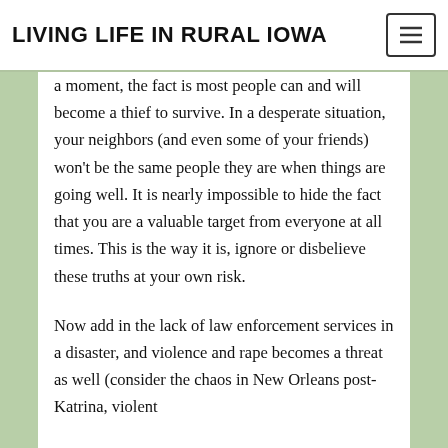LIVING LIFE IN RURAL IOWA
a moment, the fact is most people can and will become a thief to survive. In a desperate situation, your neighbors (and even some of your friends) won't be the same people they are when things are going well. It is nearly impossible to hide the fact that you are a valuable target from everyone at all times. This is the way it is, ignore or disbelieve these truths at your own risk.
Now add in the lack of law enforcement services in a disaster, and violence and rape becomes a threat as well (consider the chaos in New Orleans post-Katrina, violent